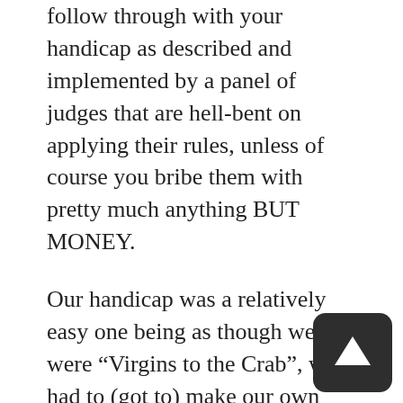follow through with your handicap as described and implemented by a panel of judges that are hell-bent on applying their rules, unless of course you bribe them with pretty much anything BUT MONEY.
Our handicap was a relatively easy one being as though we were “Virgins to the Crab”, we had to (got to) make our own “Crab Hats” and ware them for not only the race but the after party as well. Unfortunately, my crab hat was blown off my head and into the water as we exited the marina so we were disqualified before the race even started.
Some of the more interesting handicaps were; one boat had to have it’s entire crew (even the men) ware coconut bikinis and hula-skirts and every time they passed a marker the crew had to give a hula dance for the judges on the comity boat. Another boat had to splash any passing boat with a bucket of sea water and I get it that the condition fell on all boats but for...